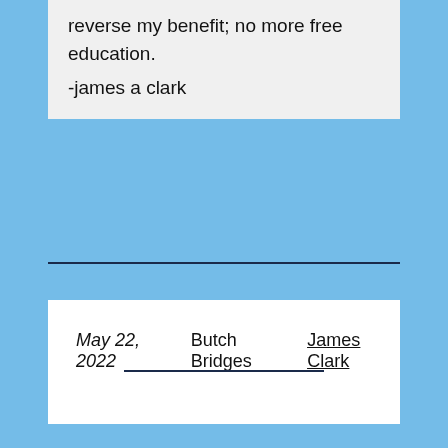reverse my benefit; no more free education.
-james a clark
May 22, 2022    Butch Bridges    James Clark